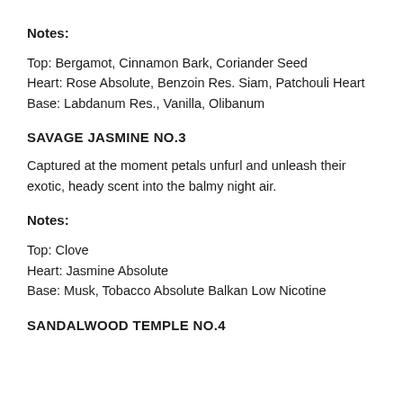Notes:
Top: Bergamot, Cinnamon Bark, Coriander Seed
Heart: Rose Absolute, Benzoin Res. Siam, Patchouli Heart
Base: Labdanum Res., Vanilla, Olibanum
SAVAGE JASMINE NO.3
Captured at the moment petals unfurl and unleash their exotic, heady scent into the balmy night air.
Notes:
Top: Clove
Heart: Jasmine Absolute
Base: Musk, Tobacco Absolute Balkan Low Nicotine
SANDALWOOD TEMPLE NO.4